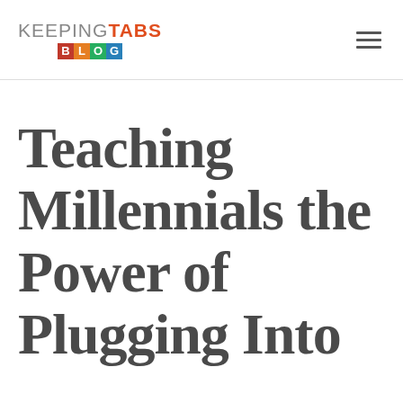KEEPING TABS BLOG
Teaching Millennials the Power of Plugging Into